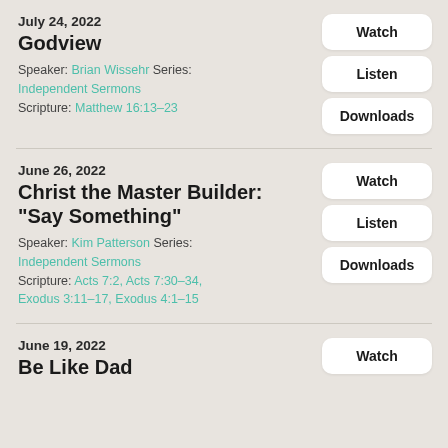July 24, 2022
Godview
Speaker: Brian Wissehr Series: Independent Sermons Scripture: Matthew 16:13–23
June 26, 2022
Christ the Master Builder: "Say Something"
Speaker: Kim Patterson Series: Independent Sermons Scripture: Acts 7:2, Acts 7:30–34, Exodus 3:11–17, Exodus 4:1–15
June 19, 2022
Be Like Dad